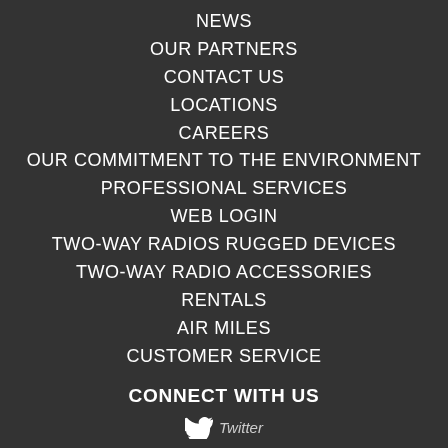NEWS
OUR PARTNERS
CONTACT US
LOCATIONS
CAREERS
OUR COMMITMENT TO THE ENVIRONMENT
PROFESSIONAL SERVICES
WEB LOGIN
TWO-WAY RADIOS RUGGED DEVICES
TWO-WAY RADIO ACCESSORIES
RENTALS
AIR MILES
CUSTOMER SERVICE
CONNECT WITH US
Twitter